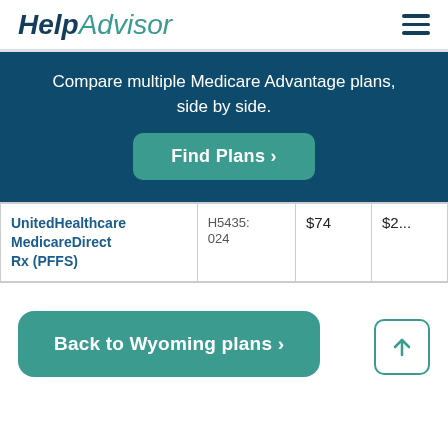HelpAdvisor
Compare multiple Medicare Advantage plans, side by side.
Find Plans >
| Plan Name | Plan ID | Premium |  |
| --- | --- | --- | --- |
| UnitedHealthcare MedicareDirect Rx (PFFS) | H5435: 024 | $74 | $2... |
Back to Wyoming plans >